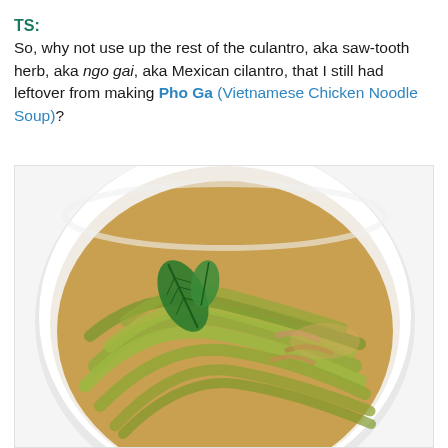TS:
So, why not use up the rest of the culantro, aka saw-tooth herb, aka ngo gai, aka Mexican cilantro, that I still had leftover from making Pho Ga (Vietnamese Chicken Noodle Soup)?
[Figure (photo): A white bowl filled with Vietnamese noodle soup (Pho Ga / Vietnamese Chicken Noodle Soup) featuring wide flat yellow-green noodles, broth, and garnished with a fresh green herb leaf on top, photographed from above on a white background.]